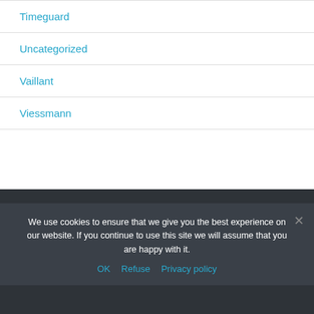Timeguard
Uncategorized
Vaillant
Viessmann
We use cookies to ensure that we give you the best experience on our website. If you continue to use this site we will assume that you are happy with it.
OK   Refuse   Privacy policy